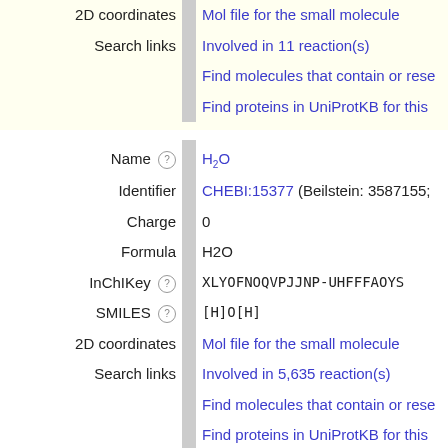| Field | Value |
| --- | --- |
| 2D coordinates | Mol file for the small molecule |
| Search links | Involved in 11 reaction(s) |
|  | Find molecules that contain or rese... |
|  | Find proteins in UniProtKB for this... |
| Name | H2O |
| Identifier | CHEBI:15377 (Beilstein: 3587155;... |
| Charge | 0 |
| Formula | H2O |
| InChIKey | XLYOFNOQVPJJNP-UHFFFAOYS... |
| SMILES | [H]O[H] |
| 2D coordinates | Mol file for the small molecule |
| Search links | Involved in 5,635 reaction(s) |
|  | Find molecules that contain or rese... |
|  | Find proteins in UniProtKB for this... |
| Name | NAD+ |